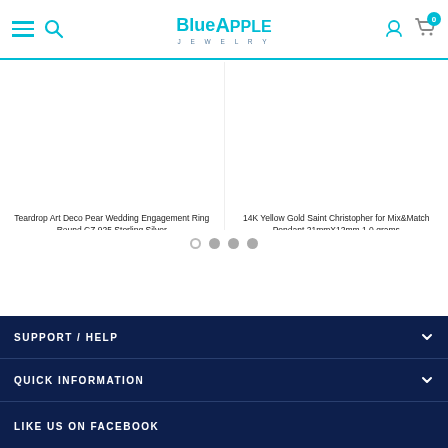Blue Apple Jewelry - navigation header with hamburger menu, search, logo, user icon, cart (0)
[Figure (photo): Product image placeholder - Teardrop Art Deco Pear Wedding Engagement Ring]
Teardrop Art Deco Pear Wedding Engagement Ring Round CZ 925 Sterling Silver
$20.99
[Figure (photo): Product image placeholder - 14K Yellow Gold Saint Christopher Pendant]
14K Yellow Gold Saint Christopher for Mix&Match Pendant 21mmX12mm 1.0 grams
$75.99
SUPPORT / HELP
QUICK INFORMATION
LIKE US ON FACEBOOK